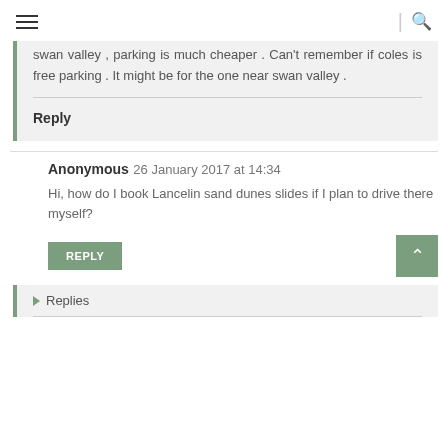Navigation bar with hamburger menu and search icon
swan valley , parking is much cheaper . Can't remember if coles is free parking . It might be for the one near swan valley .
Reply
Anonymous   26 January 2017 at 14:34
Hi, how do I book Lancelin sand dunes slides if I plan to drive there myself?
REPLY
Replies